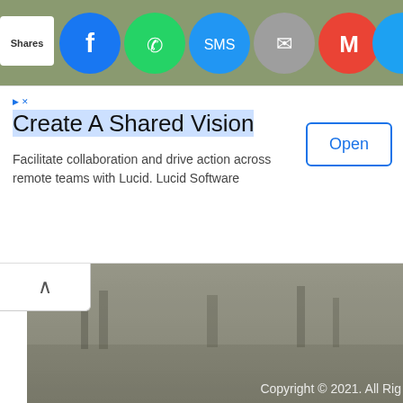[Figure (screenshot): Social sharing bar with Shares label and icons: Facebook, WhatsApp, SMS, Email, Gmail, Twitter, and another icon]
[Figure (screenshot): Advertisement banner: Create A Shared Vision - Facilitate collaboration and drive action across remote teams with Lucid. Lucid Software, with an Open button]
[Figure (photo): Misty outdoor landscape photo, dark and foggy, with trees barely visible in the background]
Copyright © 2021. All Rig